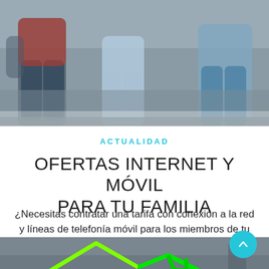[Figure (photo): Family sitting on a couch — adults and children in casual clothing, seen from mid-body down]
ACTUALIDAD
OFERTAS INTERNET Y MÓVIL PARA TU FAMILIA
¿Necesitas contratar una tarifa con conexión a la red y líneas de telefonía móvil para los miembros de tu familia? En este nuevo post...
[Figure (photo): Partial view of a home graphic with neon green house outline, background interior scene]